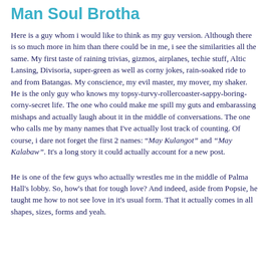Man Soul Brotha
Here is a guy whom i would like to think as my guy version. Although there is so much more in him than there could be in me, i see the similarities all the same. My first taste of raining trivias, gizmos, airplanes, techie stuff, Altic Lansing, Divisoria, super-green as well as corny jokes, rain-soaked ride to and from Batangas. My conscience, my evil master, my mover, my shaker. He is the only guy who knows my topsy-turvy-rollercoaster-sappy-boring-corny-secret life. The one who could make me spill my guts and embarassing mishaps and actually laugh about it in the middle of conversations. The one who calls me by many names that I've actually lost track of counting. Of course, i dare not forget the first 2 names: "May Kulangot" and "May Kalabaw". It's a long story it could actually account for a new post.
He is one of the few guys who actually wrestles me in the middle of Palma Hall's lobby. So, how's that for tough love? And indeed, aside from Popsie, he taught me how to not see love in it's usual form. That it actually comes in all shapes, sizes, forms and yeah.